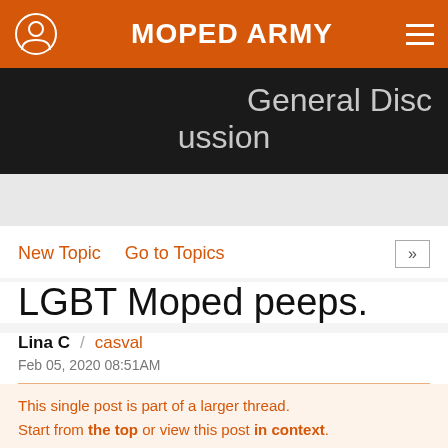MOPED ARMY
General Discussion
New Topic   Go to Topics
LGBT Moped peeps.
Lina C  /  casval
Feb 05, 2020 08:51AM
This single post is part of a larger thread. Start from the top or view this post in context.
Who here is part of the cool kids club.